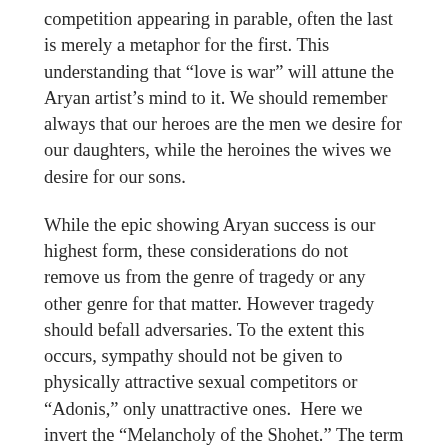competition appearing in parable, often the last is merely a metaphor for the first. This understanding that “love is war” will attune the Aryan artist’s mind to it. We should remember always that our heroes are the men we desire for our daughters, while the heroines the wives we desire for our sons.
While the epic showing Aryan success is our highest form, these considerations do not remove us from the genre of tragedy or any other genre for that matter. However tragedy should befall adversaries. To the extent this occurs, sympathy should not be given to physically attractive sexual competitors or “Adonis,” only unattractive ones.  Here we invert the “Melancholy of the Shohet.” The term can be found here: A Glossary of Terms